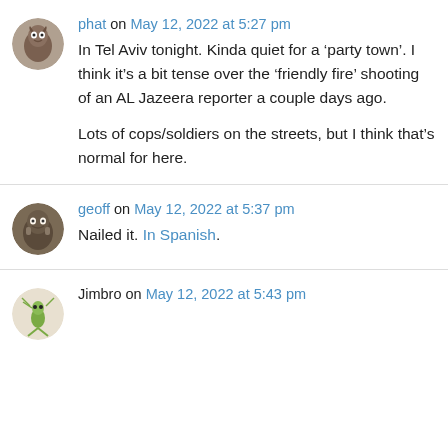phat on May 12, 2022 at 5:27 pm
In Tel Aviv tonight. Kinda quiet for a ‘party town’. I think it’s a bit tense over the ‘friendly fire’ shooting of an AL Jazeera reporter a couple days ago.

Lots of cops/soldiers on the streets, but I think that’s normal for here.
geoff on May 12, 2022 at 5:37 pm
Nailed it. In Spanish.
Jimbro on May 12, 2022 at 5:43 pm